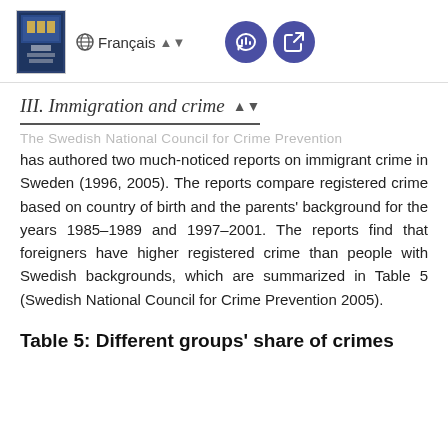III. Immigration and crime
The Swedish National Council for Crime Prevention has authored two much-noticed reports on immigrant crime in Sweden (1996, 2005). The reports compare registered crime based on country of birth and the parents' background for the years 1985–1989 and 1997–2001. The reports find that foreigners have higher registered crime than people with Swedish backgrounds, which are summarized in Table 5 (Swedish National Council for Crime Prevention 2005).
Table 5: Different groups' share of crimes